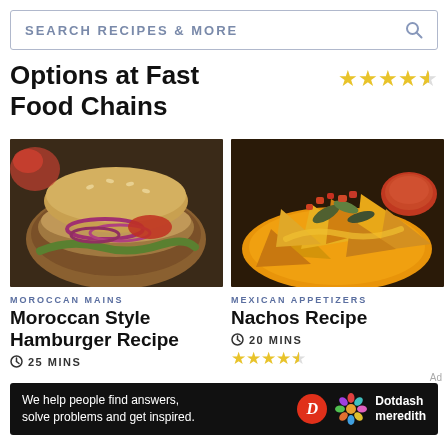SEARCH RECIPES & MORE
Options at Fast Food Chains
[Figure (other): 4.5 star rating shown with yellow stars]
[Figure (photo): Photo of a Moroccan style hamburger with red onions, lettuce, tomato on a whole grain bun]
MOROCCAN MAINS
Moroccan Style Hamburger Recipe
25 MINS
[Figure (photo): Photo of nachos on a yellow plate with jalapeños, tomatoes, and salsa]
MEXICAN APPETIZERS
Nachos Recipe
20 MINS
[Figure (other): 4.5 star rating shown with yellow stars]
Ad
We help people find answers, solve problems and get inspired. Dotdash meredith